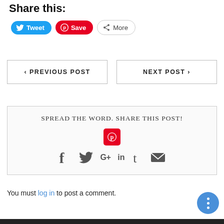Share this:
[Figure (screenshot): Social sharing buttons: Tweet (blue, Twitter), Save (red, Pinterest), More (gray outline)]
[Figure (screenshot): Navigation buttons: < PREVIOUS POST and NEXT POST >]
[Figure (infographic): Share box with text 'SPREAD THE WORD. SHARE THIS POST!' and social icons: Pinterest (red), Facebook, Twitter, Google+, LinkedIn, Tumblr, Email]
You must log in to post a comment.